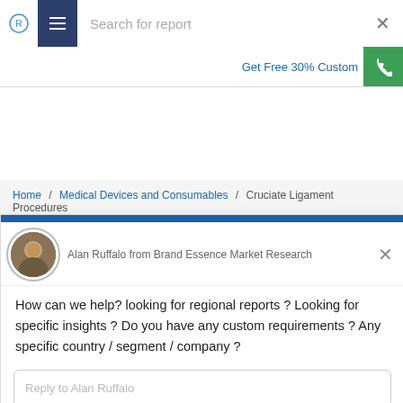Search for report
Get Free 30% Custom
Home / Medical Devices and Consumables / Cruciate Ligament Procedures
Alan Ruffalo from Brand Essence Market Research
How can we help? looking for regional reports ? Looking for specific insights ? Do you have any custom requirements ? Any specific country / segment / company ?
Reply to Alan Ruffalo
Chat ⚡ by Drift